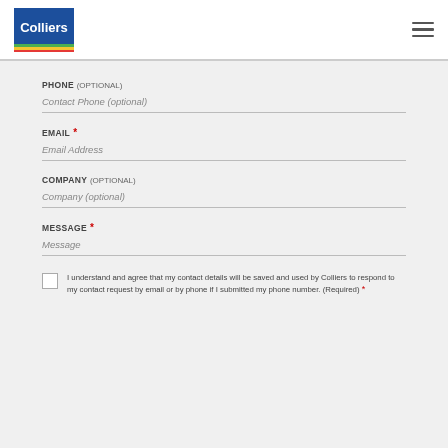[Figure (logo): Colliers logo with blue background, white text 'Colliers', and colored stripe bar at bottom]
PHONE (OPTIONAL)
Contact Phone (optional)
EMAIL *
Email Address
COMPANY (OPTIONAL)
Company (optional)
MESSAGE *
Message
I understand and agree that my contact details will be saved and used by Colliers to respond to my contact request by email or by phone if I submitted my phone number. (Required) *